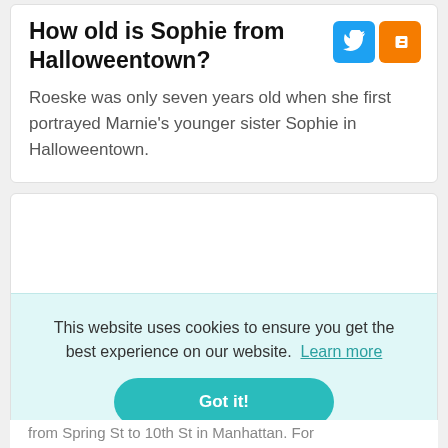How old is Sophie from Halloweentown?
Roeske was only seven years old when she first portrayed Marnie's younger sister Sophie in Halloweentown.
This website uses cookies to ensure you get the best experience on our website. Learn more
Got it!
from Spring St to 10th St in Manhattan. For